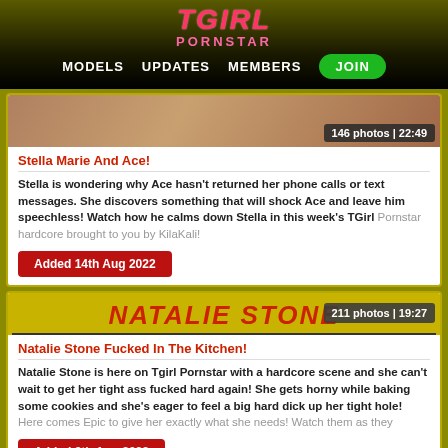TGIRL PORNSTAR — MODELS  UPDATES  MEMBERS  JOIN
[Figure (photo): Close-up skin/body photo with badge showing 146 photos | 22:49]
Stella Marie And Ace!
Stella is wondering why Ace hasn't returned her phone calls or text messages. She discovers something that will shock Ace and leave him speechless! Watch how he calms down Stella in this week's TGirl Pornstar hardcore brought to you by KilaKali!
Added 14th Aug 2022
NATALIE STONE
211 photos | 19:27
Natalie Stone Fucked In The Kitchen!
Natalie Stone is here on Tgirl Pornstar with a hardcore scene and she can't wait to get her tight ass fucked hard again! She gets horny while baking some cookies and she's eager to feel a big hard dick up her tight hole! Here comes Epic to give her exactly what she needs! Watch them as they
Added 8th Aug 2022